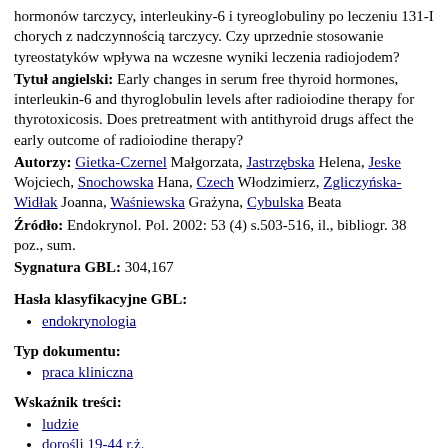hormonów tarczycy, interleukiny-6 i tyreoglobuliny po leczeniu 131-I chorych z nadczynnością tarczycy. Czy uprzednie stosowanie tyreostatyków wpływa na wczesne wyniki leczenia radiojodem?
Tytuł angielski: Early changes in serum free thyroid hormones, interleukin-6 and thyroglobulin levels after radioiodine therapy for thyrotoxicosis. Does pretreatment with antithyroid drugs affect the early outcome of radioiodine therapy?
Autorzy: Gietka-Czernel Małgorzata, Jastrzębska Helena, Jeske Wojciech, Snochowska Hana, Czech Włodzimierz, Zgliczyńska-Widłak Joanna, Waśniewska Grażyna, Cybulska Beata
Źródło: Endokrynol. Pol. 2002: 53 (4) s.503-516, il., bibliogr. 38 poz., sum.
Sygnatura GBL: 304,167
Hasła klasyfikacyjne GBL:
endokrynologia
Typ dokumentu:
praca kliniczna
Wskaźnik treści:
ludzie
dorośli 19-44 r.ż.
dorośli 45-64 r.ż.